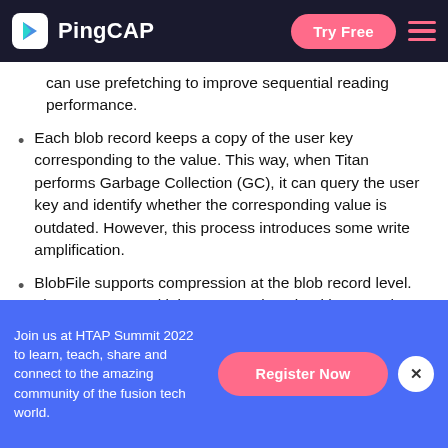PingCAP | Try Free
can use prefetching to improve sequential reading performance.
Each blob record keeps a copy of the user key corresponding to the value. This way, when Titan performs Garbage Collection (GC), it can query the user key and identify whether the corresponding value is outdated. However, this process introduces some write amplification.
BlobFile supports compression at the blob record level. Titan supports multiple compression algorithms, such as Snappy, LZ4, and Zstd.
Join us at HTAP Summit 2022 to learn, teach, share and connect to the amazing community of the fusion tech world.